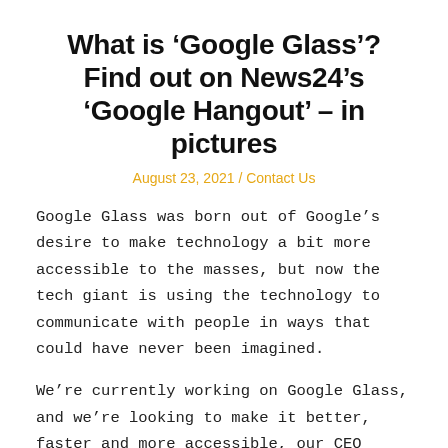What is ‘Google Glass’? Find out on News24’s ‘Google Hangout’ – in pictures
August 23, 2021 / Contact Us
Google Glass was born out of Google’s desire to make technology a bit more accessible to the masses, but now the tech giant is using the technology to communicate with people in ways that could have never been imagined.
We’re currently working on Google Glass, and we’re looking to make it better, faster and more accessible, our CEO Sundar Pichai told the audience at Google I/O.